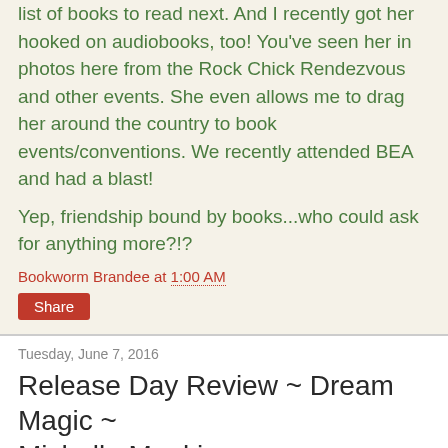list of books to read next. And I recently got her hooked on audiobooks, too! You've seen her in photos here from the Rock Chick Rendezvous and other events. She even allows me to drag her around the country to book events/conventions. We recently attended BEA and had a blast!
Yep, friendship bound by books...who could ask for anything more?!?
Bookworm Brandee at 1:00 AM
Share
Tuesday, June 7, 2016
Release Day Review ~ Dream Magic ~ Michelle Mankin